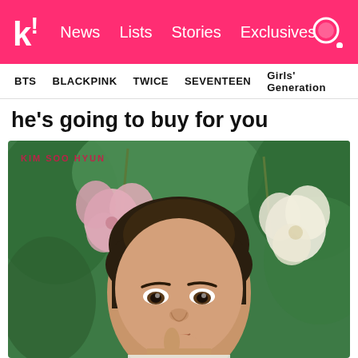k! News Lists Stories Exclusives
BTS  BLACKPINK  TWICE  SEVENTEEN  Girls' Generation
he's going to buy for you
[Figure (photo): Kim Soo Hyun portrait photo with pink flowers and green foliage in background. Watermark text 'KIM SOO HYUN' in pink at top left.]